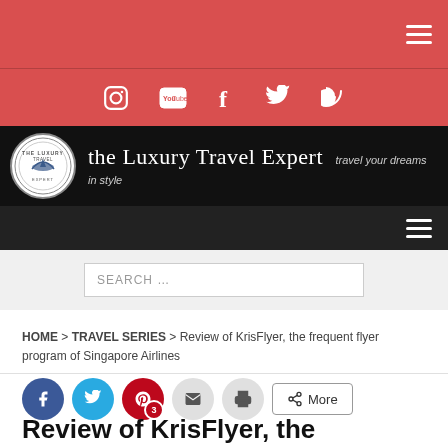the Luxury Travel Expert — travel your dreams in style
SEARCH …
HOME > TRAVEL SERIES > Review of KrisFlyer, the frequent flyer program of Singapore Airlines
Review of KrisFlyer, the frequent flyer program of Singapore Airlines